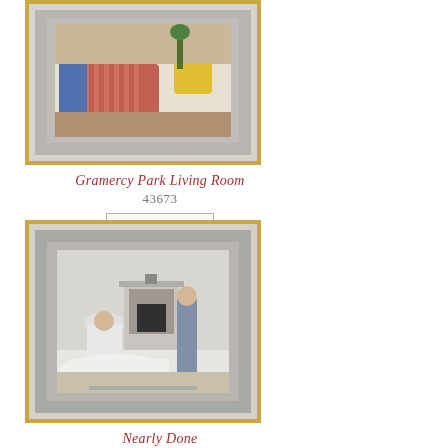[Figure (photo): Framed artwork showing a living room interior with colorful furniture including a striped sofa, blue figure, and yellow chair. Gold frame with grey mat.]
Gramercy Park Living Room
43673
Add to wishlist
[Figure (photo): Framed black and white artwork showing a Victorian interior scene with figures and a fireplace, a bride in a white dress. Gold frame with grey mat.]
Nearly Done
18036